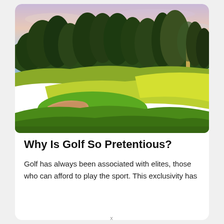[Figure (photo): Aerial view of a golf course with rolling green fairways, a sand bunker, and trees under a pink and blue sky at dusk or dawn.]
Why Is Golf So Pretentious?
Golf has always been associated with elites, those who can afford to play the sport. This exclusivity has
x